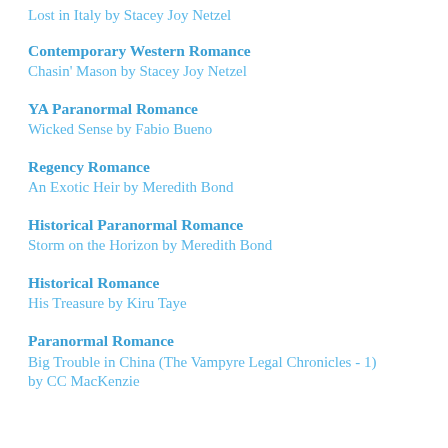Lost in Italy by Stacey Joy Netzel
Contemporary Western Romance
Chasin' Mason by Stacey Joy Netzel
YA Paranormal Romance
Wicked Sense by Fabio Bueno
Regency Romance
An Exotic Heir by Meredith Bond
Historical Paranormal Romance
Storm on the Horizon by Meredith Bond
Historical Romance
His Treasure by Kiru Taye
Paranormal Romance
Big Trouble in China (The Vampyre Legal Chronicles - 1) by CC MacKenzie